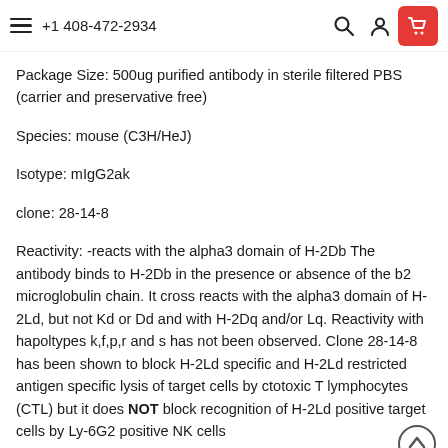+1 408-472-2934
Package Size: 500ug purified antibody in sterile filtered PBS (carrier and preservative free)
Species: mouse (C3H/HeJ)
Isotype: mIgG2ak
clone: 28-14-8
Reactivity: -reacts with the alpha3 domain of H-2Db The antibody binds to H-2Db in the presence or absence of the b2 microglobulin chain. It cross reacts with the alpha3 domain of H-2Ld, but not Kd or Dd and with H-2Dq and/or Lq. Reactivity with hapoltypes k,f,p,r and s has not been observed. Clone 28-14-8 has been shown to block H-2Ld specific and H-2Ld restricted antigen specific lysis of target cells by ctotoxic T lymphocytes (CTL) but it does NOT block recognition of H-2Ld positive target cells by Ly-6G2 positive NK cells
Immunodirections for use...